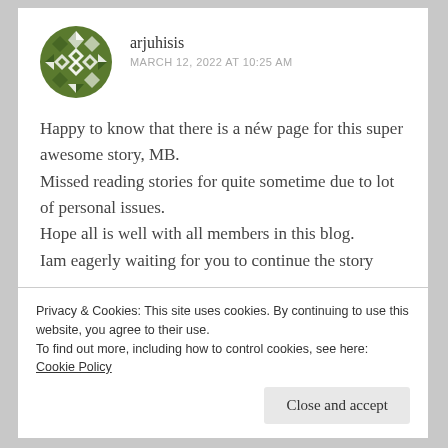[Figure (illustration): Green geometric/diamond-pattern avatar icon for user arjuhisis]
arjuhisis
MARCH 12, 2022 AT 10:25 AM
Happy to know that there is a néw page for this super awesome story, MB.
Missed reading stories for quite sometime due to lot of personal issues.
Hope all is well with all members in this blog.
Iam eagerly waiting for you to continue the story
Privacy & Cookies: This site uses cookies. By continuing to use this website, you agree to their use.
To find out more, including how to control cookies, see here: Cookie Policy
Close and accept